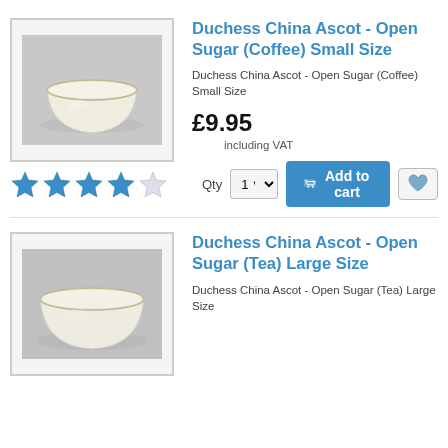[Figure (photo): White china sugar bowl (small/coffee size) on grey background]
[Figure (illustration): 4 out of 5 blue star rating]
Duchess China Ascot - Open Sugar (Coffee) Small Size
Duchess China Ascot - Open Sugar (Coffee) Small Size
£9.95
including VAT
[Figure (screenshot): Add to cart UI with Qty selector, Add to cart button, and wishlist heart button]
[Figure (photo): White china sugar bowl (large/tea size) on grey background]
Duchess China Ascot - Open Sugar (Tea) Large Size
Duchess China Ascot - Open Sugar (Tea) Large Size